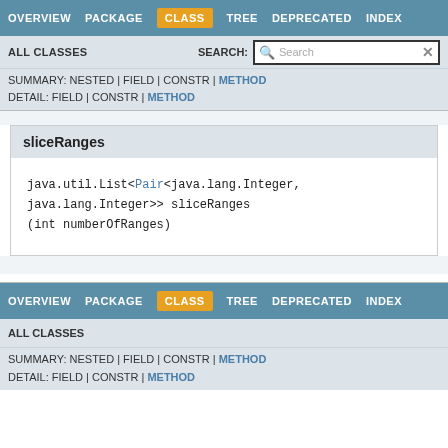OVERVIEW  PACKAGE  CLASS  TREE  DEPRECATED  INDEX
ALL CLASSES    SEARCH:  [Search]
SUMMARY: NESTED | FIELD | CONSTR | METHOD
DETAIL: FIELD | CONSTR | METHOD
sliceRanges
java.util.List<Pair<java.lang.Integer,
java.lang.Integer>> sliceRanges
(int numberOfRanges)
OVERVIEW  PACKAGE  CLASS  TREE  DEPRECATED  INDEX
ALL CLASSES
SUMMARY: NESTED | FIELD | CONSTR | METHOD
DETAIL: FIELD | CONSTR | METHOD